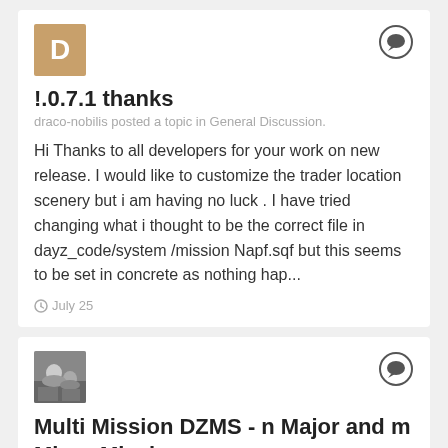!.0.7.1 thanks
draco-nobilis posted a topic in General Discussion.
Hi Thanks to all developers for your work on new release. I would like to customize the trader location scenery but i am having no luck . I have tried changing what i thought to be the correct file in dayz_code/system /mission Napf.sqf but this seems to be set in concrete as nothing hap...
July 25
Multi Mission DZMS - n Major and m Minor Missions
Donnovan posted a topic in DZMS - DayZ Mission System